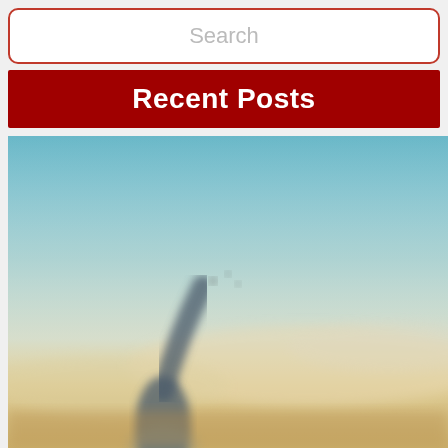Search
Recent Posts
[Figure (photo): Blurred photo of a person with arms raised against a gradient sky background (blue sky fading to warm golden yellow/orange near the horizon), with a misty atmospheric look.]